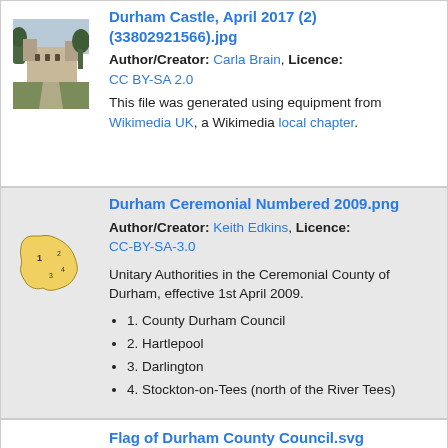[Figure (photo): Thumbnail photo of Durham Castle]
Durham Castle, April 2017 (2) (33802921566).jpg
Author/Creator: Carla Brain, Licence: CC BY-SA 2.0
This file was generated using equipment from Wikimedia UK, a Wikimedia local chapter.
[Figure (map): Map of Durham Ceremonial County numbered unitary authorities]
Durham Ceremonial Numbered 2009.png
Author/Creator: Keith Edkins, Licence: CC-BY-SA-3.0
Unitary Authorities in the Ceremonial County of Durham, effective 1st April 2009.
1. County Durham Council
2. Hartlepool
3. Darlington
4. Stockton-on-Tees (north of the River Tees)
Flag of Durham County Council.svg